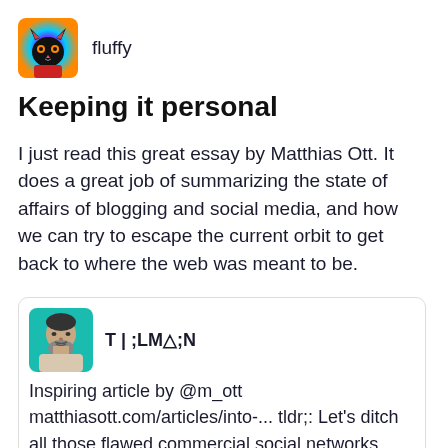[Figure (illustration): Colorful illustrated avatar of fluffy, a cartoon cat-like character with bright colors, rainbow background]
fluffy
Keeping it personal
I just read this great essay by Matthias Ott. It does a great job of summarizing the state of affairs of blogging and social media, and how we can try to escape the current orbit to get back to where the web was meant to be.
[Figure (photo): Profile photo of a person with beard and short dark hair, teal/cyan colored filter applied]
T | ;LM△;N
Inspiring article by @m_ott matthiasott.com/articles/into-... tldr;: Let's ditch all those flawed commercial social networks and built a new one, with personal linked websites, like